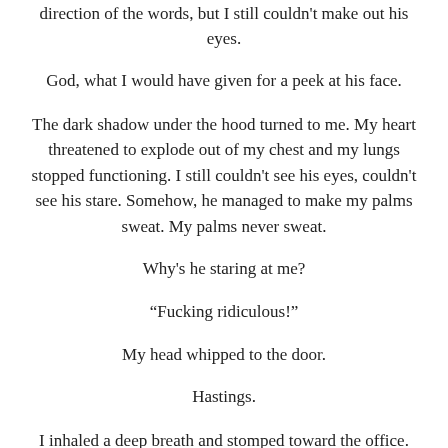direction of the words, but I still couldn't make out his eyes.
God, what I would have given for a peek at his face.
The dark shadow under the hood turned to me. My heart threatened to explode out of my chest and my lungs stopped functioning. I still couldn't see his eyes, couldn't see his stare. Somehow, he managed to make my palms sweat. My palms never sweat.
Why's he staring at me?
“Fucking ridiculous!”
My head whipped to the door.
Hastings.
I inhaled a deep breath and stomped toward the office. I’d learned long ago that if I didn’t set a certain tone with unruly parents they’d walk all over me.